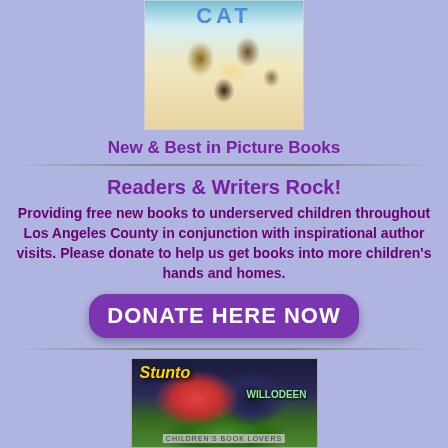[Figure (illustration): Children's picture book cover showing cartoon characters and the letters CAT at the top]
New & Best in Picture Books
Readers & Writers Rock!
Providing free new books to underserved children throughout Los Angeles County in conjunction with inspirational author visits. Please donate to help us get books into more children's hands and homes.
[Figure (other): DONATE HERE NOW button in purple rounded rectangle]
[Figure (photo): Stack of children's books including Stuntboy and Willodeen with a ribbon, labeled CHILDREN'S BOOK LOVERS]